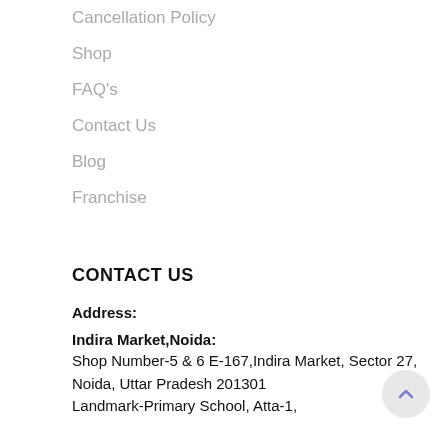Cancellation Policy
Shop
FAQ's
Contact Us
Blog
Franchise
CONTACT US
Address:
Indira Market,Noida:
Shop Number-5 & 6 E-167,Indira Market, Sector 27, Noida, Uttar Pradesh 201301
Landmark-Primary School, Atta-1,